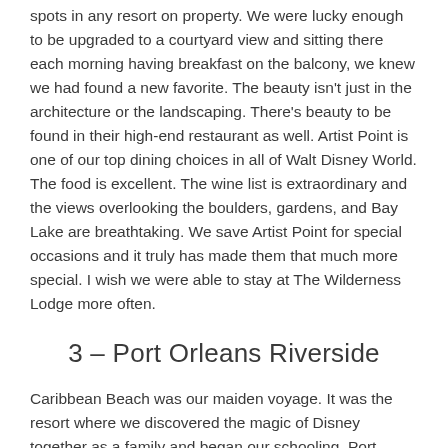spots in any resort on property. We were lucky enough to be upgraded to a courtyard view and sitting there each morning having breakfast on the balcony, we knew we had found a new favorite. The beauty isn't just in the architecture or the landscaping. There's beauty to be found in their high-end restaurant as well. Artist Point is one of our top dining choices in all of Walt Disney World. The food is excellent. The wine list is extraordinary and the views overlooking the boulders, gardens, and Bay Lake are breathtaking. We save Artist Point for special occasions and it truly has made them that much more special. I wish we were able to stay at The Wilderness Lodge more often.
3 – Port Orleans Riverside
Caribbean Beach was our maiden voyage. It was the resort where we discovered the magic of Disney together as a family and began our schooling. Port Orleans Riverside is where we graduated and earned our Disney degrees. We spent five years in a row at the Port Orleans Resort. Our first stay was at French Quarter with just our daughter. Once our boys were old enough to come with us, we needed that extra trundle bed